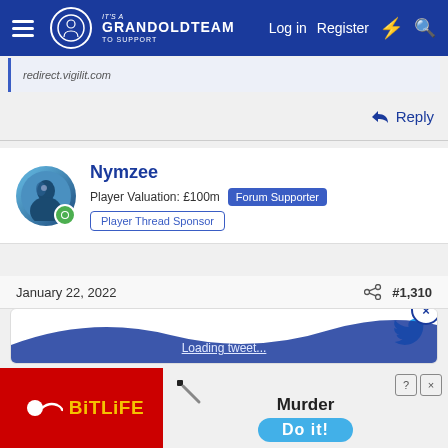GranDOldTeam - Log in | Register
redirect.vigilit.com
Reply
Nymzee
Player Valuation: £100m  Forum Supporter
Player Thread Sponsor
January 22, 2022  #1,310
[Figure (screenshot): Embedded tweet/Twitter post with Twitter bird icon, loading content, and wave graphic with close button]
[Figure (photo): BitLife advertisement banner: red background with BitLife logo and Murder/Do it! call to action]